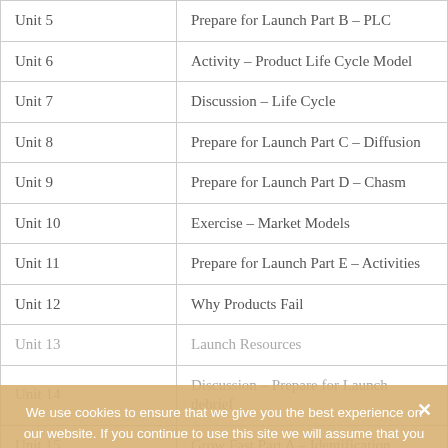| Unit 5 | Prepare for Launch Part B – PLC |
| Unit 6 | Activity – Product Life Cycle Model |
| Unit 7 | Discussion – Life Cycle |
| Unit 8 | Prepare for Launch Part C – Diffusion |
| Unit 9 | Prepare for Launch Part D – Chasm |
| Unit 10 | Exercise – Market Models |
| Unit 11 | Prepare for Launch Part E – Activities |
| Unit 12 | Why Products Fail |
| Unit 13 | Launch Resources |
| Unit 14 | Discussion – Prepare for Launch debrief |
| Unit 15 | Grow Fast Part A – Identification |
| Unit 16 | Grow Fast Part B – … |
| Unit 17 | Discussion – Growing Fast |
We use cookies to ensure that we give you the best experience on our website. If you continue to use this site we will assume that you are happy with it.